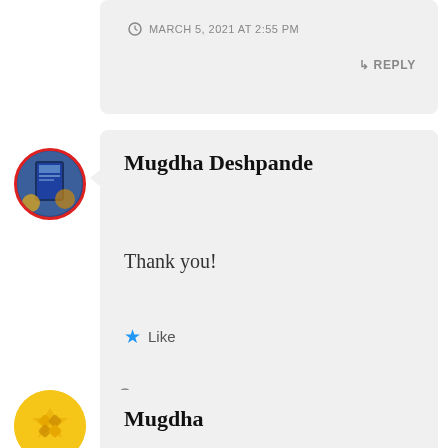MARCH 5, 2021 AT 2:55 PM
↳ REPLY
[Figure (photo): Circular avatar with red border, showing a book cover image with blue tones]
Mugdha Deshpande
Thank you!
★ Like
MARCH 6, 2021 AT 1:41 AM
↳ REPLY
[Figure (photo): Circular avatar with yellow/gold geometric pattern]
Mugdha